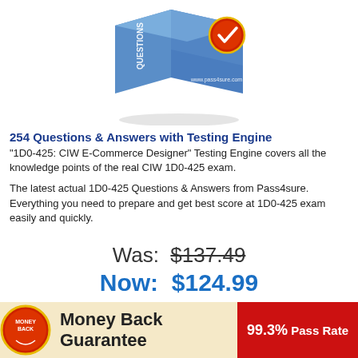[Figure (illustration): Product box image for CIW 1D0-425 exam prep, blue box with 'QUESTIONS' label and a red/gold checkmark seal, www.pass4sure.com shown on box]
254 Questions & Answers with Testing Engine
"1D0-425: CIW E-Commerce Designer" Testing Engine covers all the knowledge points of the real CIW 1D0-425 exam.
The latest actual 1D0-425 Questions & Answers from Pass4sure. Everything you need to prepare and get best score at 1D0-425 exam easily and quickly.
Was:  $137.49
Now:  $124.99
Add to Cart
Money Back Guarantee
99.3% Pass Rate